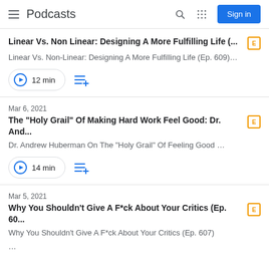Podcasts
Linear Vs. Non Linear: Designing A More Fulfilling Life (... | Linear Vs. Non-Linear: Designing A More Fulfilling Life (Ep. 609)... | 12 min
Mar 6, 2021 | The "Holy Grail" Of Making Hard Work Feel Good: Dr. And... | Dr. Andrew Huberman On The "Holy Grail" Of Feeling Good ... | 14 min
Mar 5, 2021 | Why You Shouldn't Give A F*ck About Your Critics (Ep. 60... | Why You Shouldn't Give A F*ck About Your Critics (Ep. 607) ...